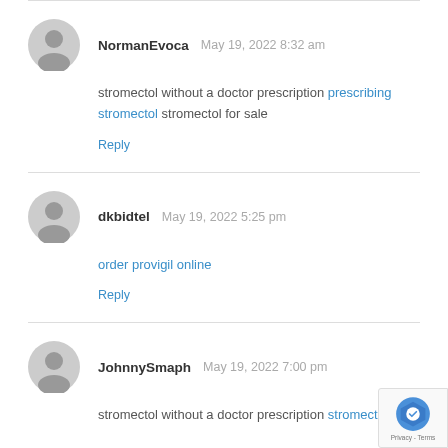NormanEvoca  May 19, 2022 8:32 am
stromectol without a doctor prescription prescribing stromectol stromectol for sale
Reply
dkbidtel  May 19, 2022 5:25 pm
order provigil online
Reply
JohnnySmaph  May 19, 2022 7:00 pm
stromectol without a doctor prescription stromectol